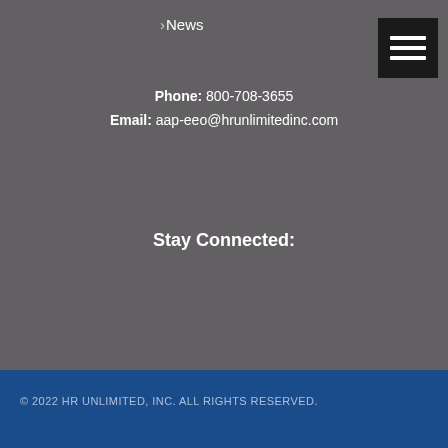> News
Phone: 800-708-3655
Email: aap-eeo@hrunlimitedinc.com
Stay Connected:
© 2022 HR UNLIMITED, INC. ALL RIGHTS RESERVED.